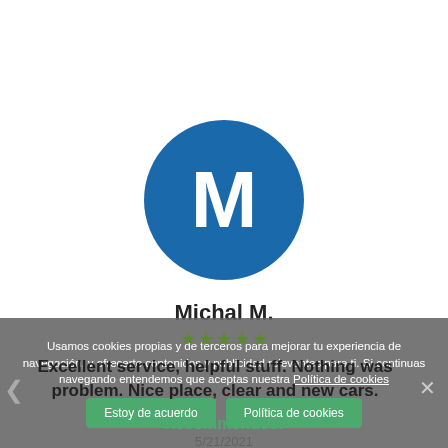[Figure (illustration): Blue circular avatar with white letter M in the center, representing user profile photo]
Michal M.
Usamos cookies propias y de terceros para mejorar tu experiencia de navegación, y ofrecerte contenidos y publicidad relevantes para ti. Si continuas navegando entendemos que aceptas nuestra Política de cookies
Excellent service, helpful stuff. Nothing was problem. Nice place, clear and new cars.
Recommended!
5/21/2021